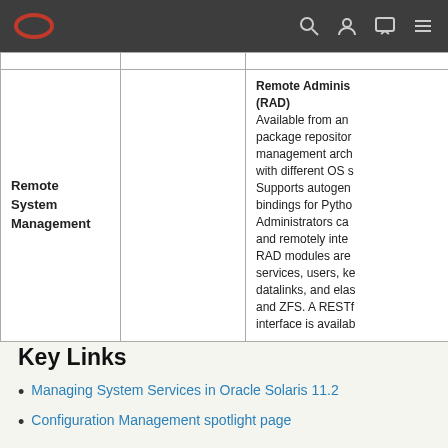Oracle navigation bar with logo and icons
|  |  | Remote Administration Daemon (RAD) |
| --- | --- | --- |
| Remote System Management |  | Remote Administration Daemon (RAD)
Available from an package repository management architecture with different OS s... Supports autogenerated bindings for Python... Administrators can and remotely interact... RAD modules are services, users, ke... datalinks, and elast... and ZFS. A RESTful interface is available... |
Key Links
Managing System Services in Oracle Solaris 11.2
Configuration Management spotlight page